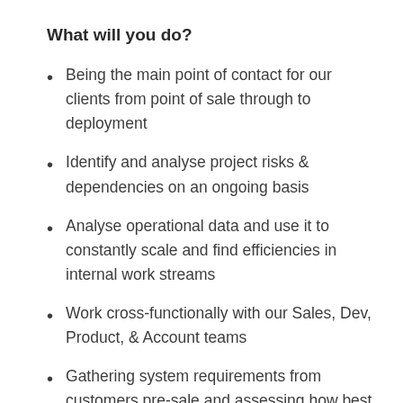What will you do?
Being the main point of contact for our clients from point of sale through to deployment
Identify and analyse project risks & dependencies on an ongoing basis
Analyse operational data and use it to constantly scale and find efficiencies in internal work streams
Work cross-functionally with our Sales, Dev, Product, & Account teams
Gathering system requirements from customers pre-sale and assessing how best to configure the platform and provide guidance on best practices